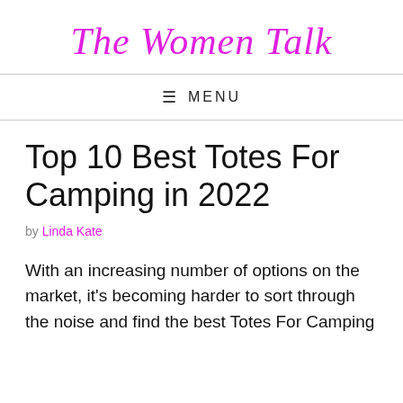The Women Talk
≡ MENU
Top 10 Best Totes For Camping in 2022
by Linda Kate
With an increasing number of options on the market, it's becoming harder to sort through the noise and find the best Totes For Camping